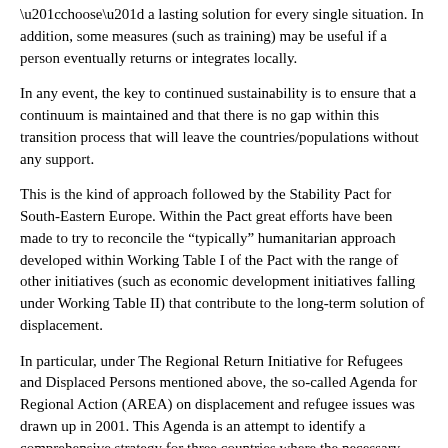“choose” a lasting solution for every single situation. In addition, some measures (such as training) may be useful if a person eventually returns or integrates locally.
In any event, the key to continued sustainability is to ensure that a continuum is maintained and that there is no gap within this transition process that will leave the countries/populations without any support.
This is the kind of approach followed by the Stability Pact for South-Eastern Europe. Within the Pact great efforts have been made to try to reconcile the “typically” humanitarian approach developed within Working Table I of the Pact with the range of other initiatives (such as economic development initiatives falling under Working Table II) that contribute to the long-term solution of displacement.
In particular, under The Regional Return Initiative for Refugees and Displaced Persons mentioned above, the so-called Agenda for Regional Action (AREA) on displacement and refugee issues was drawn up in 2001. This Agenda is an attempt to identify a comprehensive strategy for three countries where the necessary conditions for massive returns have been created (Croatia - Bosnia and Herzegovina – Serbia and Montenegro) by identifying activities to be undertaken by all those involved in refugee issues (international organisations, governments, NGOs, etc). It is based